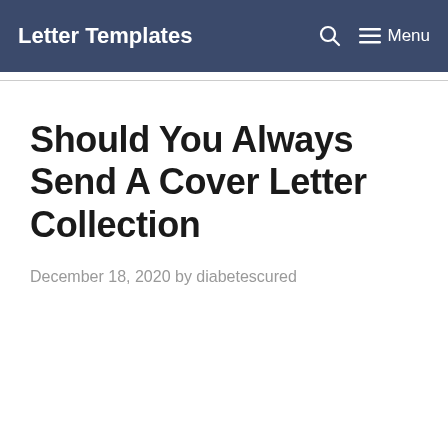Letter Templates   Menu
Should You Always Send A Cover Letter Collection
December 18, 2020 by diabetescured